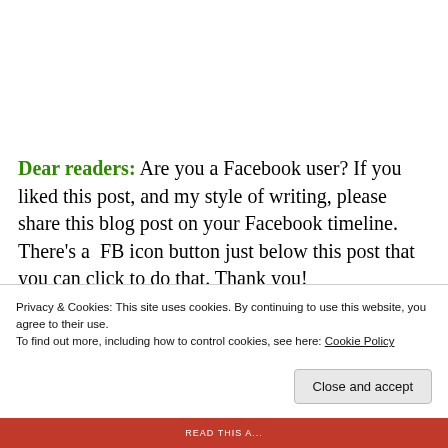Dear readers: Are you a Facebook user? If you liked this post, and my style of writing, please share this blog post on your Facebook timeline. There's a  FB icon button just below this post that you can click to do that. Thank you!
Advertisements
Privacy & Cookies: This site uses cookies. By continuing to use this website, you agree to their use.
To find out more, including how to control cookies, see here: Cookie Policy
Close and accept